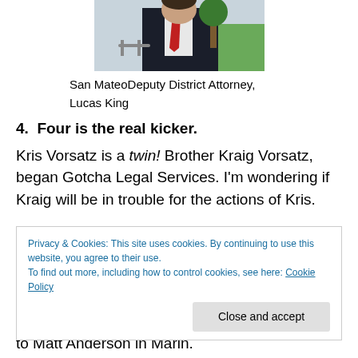[Figure (photo): Headshot of a man in a dark suit with a red tie, standing outdoors with trees and a lawn in the background. Photo is cropped at the top.]
San MateoDeputy District Attorney, Lucas King
4.  Four is the real kicker.
Kris Vorsatz is a twin! Brother Kraig Vorsatz, began Gotcha Legal Services. I'm wondering if Kraig will be in trouble for the actions of Kris.
Privacy & Cookies: This site uses cookies. By continuing to use this website, you agree to their use.
To find out more, including how to control cookies, see here: Cookie Policy
[Close and accept]
to Matt Anderson in Marin.